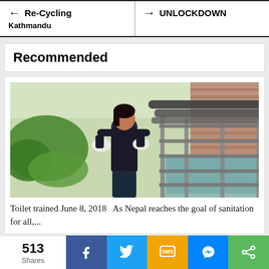← Re-Cycling Kathmandu   → UNLOCKDOWN
Recommended
[Figure (photo): A woman in dark clothing and white gloves stands in front of industrial water treatment or aquaculture infrastructure with pipes and metal frames, surrounded by green plants.]
Toilet trained June 8, 2018   As Nepal reaches the goal of sanitation for all,...
513 Shares